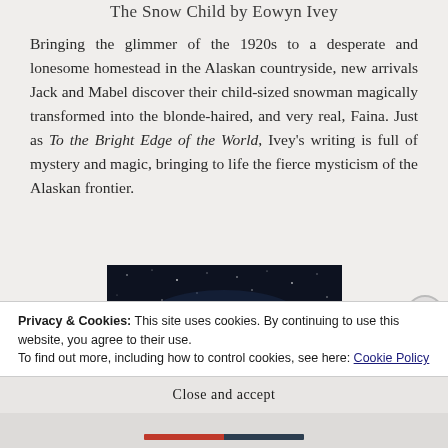The Snow Child by Eowyn Ivey
Bringing the glimmer of the 1920s to a desperate and lonesome homestead in the Alaskan countryside, new arrivals Jack and Mabel discover their child-sized snowman magically transformed into the blonde-haired, and very real, Faina. Just as To the Bright Edge of the World, Ivey's writing is full of mystery and magic, bringing to life the fierce mysticism of the Alaskan frontier.
[Figure (photo): Book cover showing dark starry night sky background with the word STATION in white serif letters, partial cover image]
Privacy & Cookies: This site uses cookies. By continuing to use this website, you agree to their use.
To find out more, including how to control cookies, see here: Cookie Policy
Close and accept